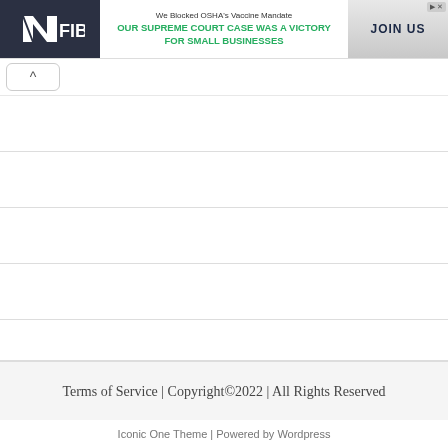[Figure (logo): NFIB banner advertisement showing NFIB logo on dark background, text 'We Blocked OSHA's Vaccine Mandate' and 'OUR SUPREME COURT CASE WAS A VICTORY FOR SMALL BUSINESSES' in green, and JOIN US button with Supreme Court building image]
^
Terms of Service | Copyright©2022 | All Rights Reserved
Iconic One Theme | Powered by Wordpress